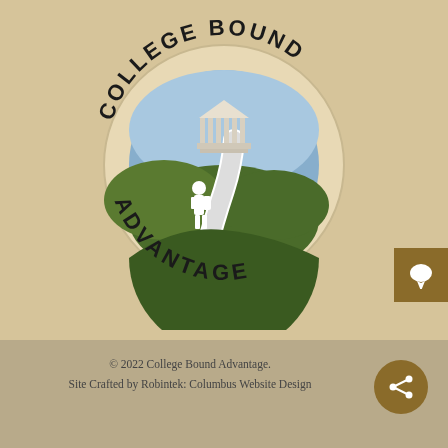[Figure (logo): College Bound Advantage circular logo with text 'COLLEGE BOUND ADVANTAGE' arranged in a circle around a circular emblem depicting a Greek-columned building on a hill with a winding path and a student figure with backpack, set against green hills and blue sky.]
© 2022 College Bound Advantage.
Site Crafted by Robintek: Columbus Website Design